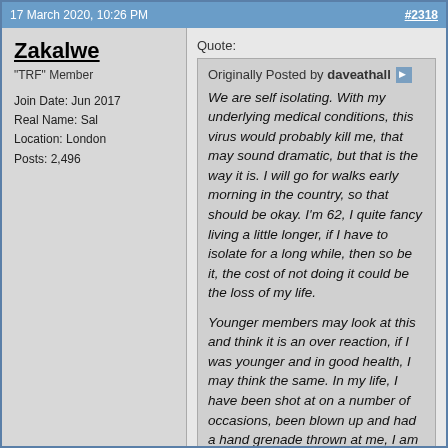17 March 2020, 10:26 PM  #2318
Zakalwe
"TRF" Member

Join Date: Jun 2017
Real Name: Sal
Location: London
Posts: 2,496
Quote:
Originally Posted by daveathall
We are self isolating. With my underlying medical conditions, this virus would probably kill me, that may sound dramatic, but that is the way it is. I will go for walks early morning in the country, so that should be okay. I'm 62, I quite fancy living a little longer, if I have to isolate for a long while, then so be it, the cost of not doing it could be the loss of my life.

Younger members may look at this and think it is an over reaction, if I was younger and in good health, I may think the same. In my life, I have been shot at on a number of occasions, been blown up and had a hand grenade thrown at me, I am no shrinking violet. This